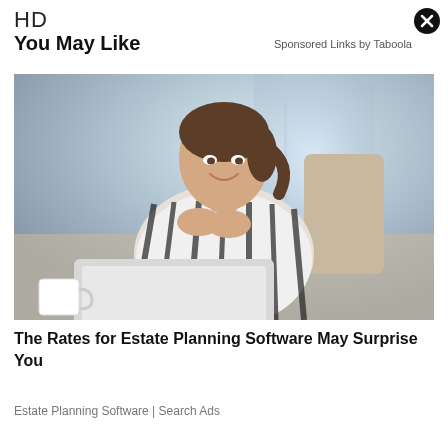HD
You May Like
Sponsored Links by Taboola
[Figure (photo): Smiling young woman in striped shirt sitting at a laptop with hands clasped, looking at screen in a bright modern office setting with a white coffee cup visible in foreground]
The Rates for Estate Planning Software May Surprise You
Estate Planning Software | Search Ads